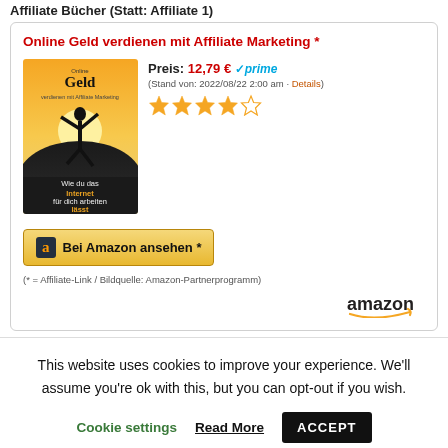Online Geld verdienen mit Affiliate Marketing *
Preis: 12,79 € ✓prime
(Stand von: 2022/08/22 2:00 am · Details)
[Figure (illustration): Book cover: Online Geld verdienen mit Affiliate Marketing - showing a person silhouette against a sunset with text 'Wie du das Internet für dich arbeiten lässt']
Bei Amazon ansehen *
(* = Affiliate-Link / Bildquelle: Amazon-Partnerprogramm)
[Figure (logo): Amazon logo with smile]
This website uses cookies to improve your experience. We'll assume you're ok with this, but you can opt-out if you wish.
Cookie settings  Read More  ACCEPT